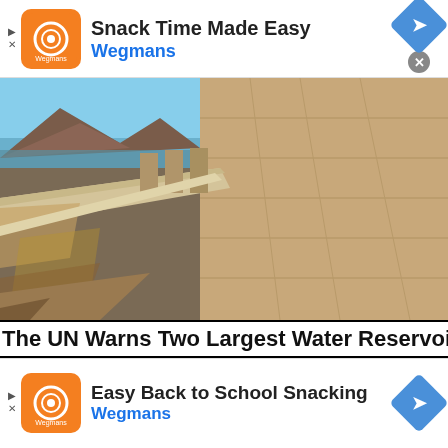[Figure (infographic): Ad banner for Wegmans: 'Snack Time Made Easy' with orange Wegmans logo, navigation arrow diamond button, and close button]
[Figure (photo): Aerial photo of Hoover Dam showing the concrete dam face, spillway walkway, intake towers, and surrounding desert canyon terrain]
The UN Warns Two Largest Water Reservoirs
[Figure (infographic): Ad banner for Wegmans: 'Easy Back to School Snacking' with orange Wegmans logo, navigation arrow diamond button, and close button]